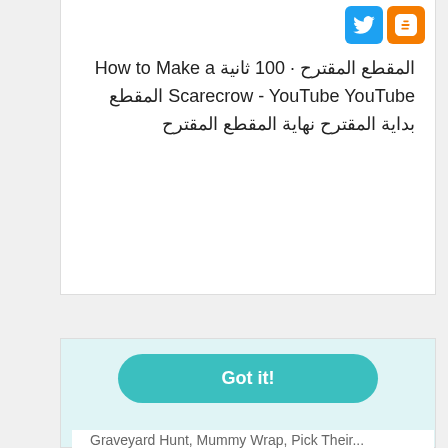[Figure (illustration): Twitter and Blogger social sharing icons (blue bird icon and orange B icon)]
المقطع المقترح · 100 ثانية How to Make a Scarecrow - YouTube YouTube المقطع بداية المقترح نهاية المقطع المقترح
What games can you play at a Halloween party?
This website uses cookies to ensure you get the best experience on our website.  Learn more
Got it!
Graveyard Hunt, Mummy Wrap, Pick Their...